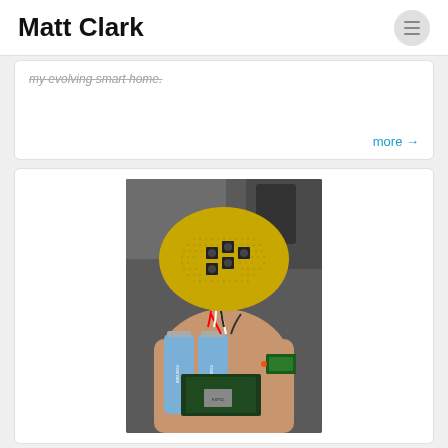Matt Clark
my evolving smart home.
more →
[Figure (photo): Hand-held electronics prototype showing a yellow perforated oval PCB with button switches mounted on top, connected to two blue cylindrical batteries and an ESP32 microcontroller board with red and white wires.]